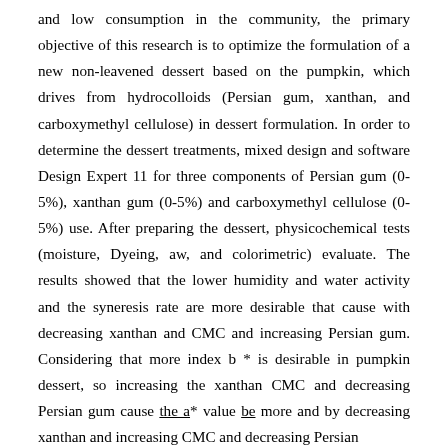and low consumption in the community, the primary objective of this research is to optimize the formulation of a new non-leavened dessert based on the pumpkin, which drives from hydrocolloids (Persian gum, xanthan, and carboxymethyl cellulose) in dessert formulation. In order to determine the dessert treatments, mixed design and software Design Expert 11 for three components of Persian gum (0-5%), xanthan gum (0-5%) and carboxymethyl cellulose (0-5%) use. After preparing the dessert, physicochemical tests (moisture, Dyeing, aw, and colorimetric) evaluate. The results showed that the lower humidity and water activity and the syneresis rate are more desirable that cause with decreasing xanthan and CMC and increasing Persian gum. Considering that more index b * is desirable in pumpkin dessert, so increasing the xanthan CMC and decreasing Persian gum cause the a* value be more and by decreasing xanthan and increasing CMC and decreasing Persian